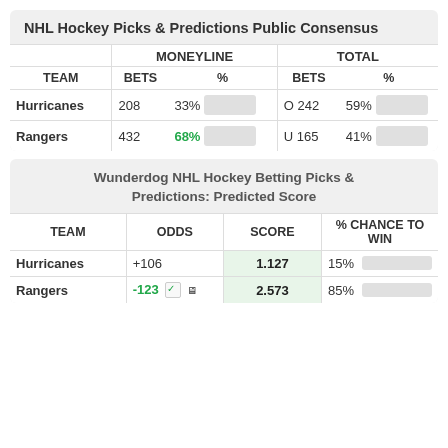NHL Hockey Picks & Predictions Public Consensus
| TEAM | BETS | % | BETS | % |
| --- | --- | --- | --- | --- |
| Hurricanes | 208 | 33% | O 242 | 59% |
| Rangers | 432 | 68% | U 165 | 41% |
Wunderdog NHL Hockey Betting Picks & Predictions: Predicted Score
| TEAM | ODDS | SCORE | % CHANCE TO WIN |
| --- | --- | --- | --- |
| Hurricanes | +106 | 1.127 | 15% |
| Rangers | -123 | 2.573 | 85% |